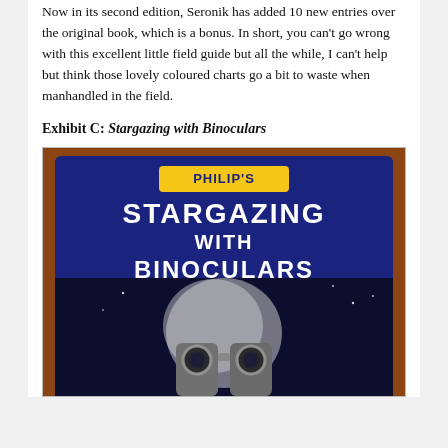Now in its second edition, Seronik has added 10 new entries over the original book, which is a bonus. In short, you can't go wrong with this excellent little field guide but all the while, I can't help but think those lovely coloured charts go a bit to waste when manhandled in the field.
Exhibit C: Stargazing with Binoculars
[Figure (photo): Photo of the book cover of Philip's Stargazing with Binoculars, showing the title in white bold text on a dark blue background with a yellow Philip's logo badge at top, and binoculars against a moonlit sky at the bottom of the cover.]